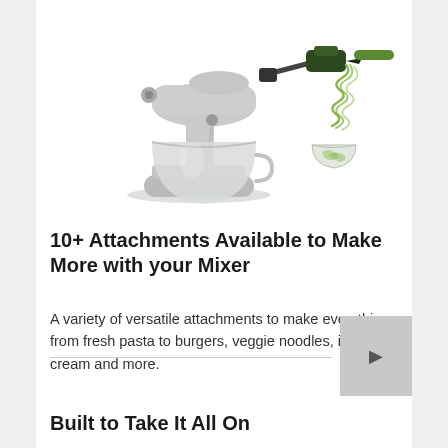[Figure (photo): KitchenAid stand mixer in silver/stainless finish with a spiralizer attachment, producing green vegetable noodles into a glass bowl. The mixer is shown from the front-left angle with the attachment extending to the right.]
10+ Attachments Available to Make More with your Mixer
A variety of versatile attachments to make everything from fresh pasta to burgers, veggie noodles, ice cream and more.
Built to Take It All On